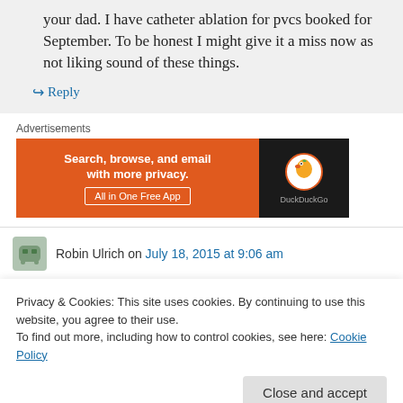your dad. I have catheter ablation for pvcs booked for September. To be honest I might give it a miss now as not liking sound of these things.
↪ Reply
Advertisements
[Figure (screenshot): DuckDuckGo advertisement banner: orange section with text 'Search, browse, and email with more privacy. All in One Free App' and dark section with DuckDuckGo logo and name.]
Robin Ulrich on July 18, 2015 at 9:06 am
Privacy & Cookies: This site uses cookies. By continuing to use this website, you agree to their use.
To find out more, including how to control cookies, see here: Cookie Policy
Close and accept
story. Now CHElate stages     was healthy